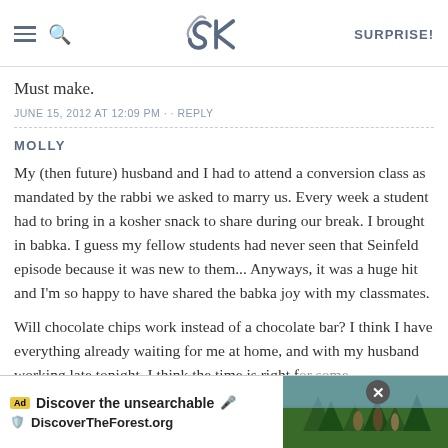SK — SURPRISE!
Must make.
JUNE 15, 2012 AT 12:09 PM · · REPLY
MOLLY
My (then future) husband and I had to attend a conversion class as mandated by the rabbi we asked to marry us. Every week a student had to bring in a kosher snack to share during our break. I brought in babka. I guess my fellow students had never seen that Seinfeld episode because it was new to them... Anyways, it was a huge hit and I'm so happy to have shared the babka joy with my classmates.
Will chocolate chips work instead of a chocolate bar? I think I have everything already waiting for me at home, and with my husband working late tonight, I think the time is right for some babka b
[Figure (screenshot): Ad overlay: 'Discover the unsearchable' for DiscoverTheForest.org with forest image and close button]